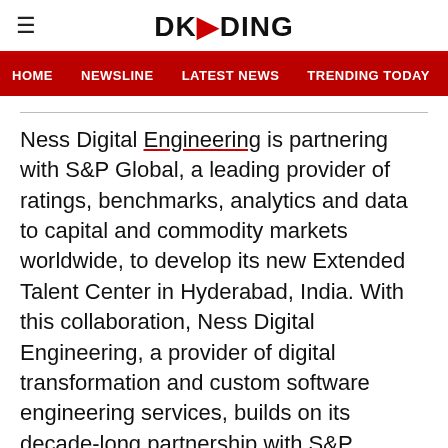DKODING
HOME  NEWSLINE  LATEST NEWS  TRENDING TODAY  ENT
Ness Digital Engineering is partnering with S&P Global, a leading provider of ratings, benchmarks, analytics and data to capital and commodity markets worldwide, to develop its new Extended Talent Center in Hyderabad, India. With this collaboration, Ness Digital Engineering, a provider of digital transformation and custom software engineering services, builds on its decade-long partnership with S&P Global. The new Extended Talent Center will expand S&P Global's software delivery capabilities